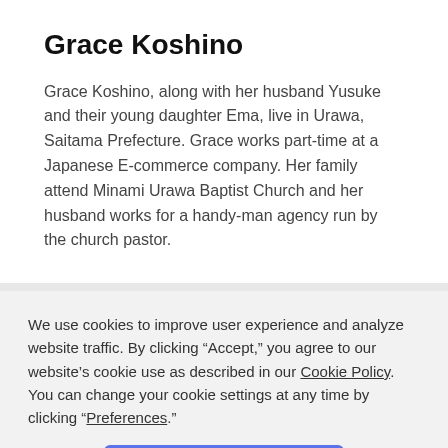Grace Koshino
Grace Koshino, along with her husband Yusuke and their young daughter Ema, live in Urawa, Saitama Prefecture. Grace works part-time at a Japanese E-commerce company. Her family attend Minami Urawa Baptist Church and her husband works for a handy-man agency run by the church pastor.
We use cookies to improve user experience and analyze website traffic. By clicking “Accept,” you agree to our website’s cookie use as described in our Cookie Policy. You can change your cookie settings at any time by clicking “Preferences.”
[Figure (other): Blue Accept button for cookie consent dialog]